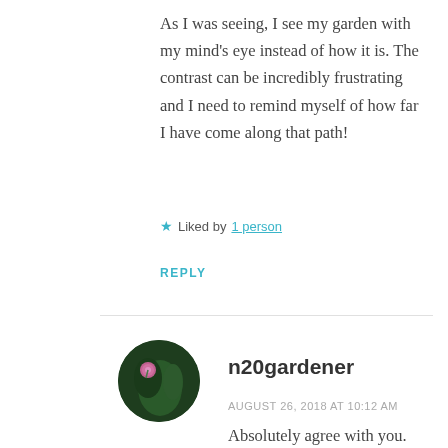As I was seeing, I see my garden with my mind's eye instead of how it is. The contrast can be incredibly frustrating and I need to remind myself of how far I have come along that path!
★ Liked by 1 person
REPLY
[Figure (photo): Circular avatar photo of n20gardener showing pink flowers (possibly thistle or allium) against a dark green garden background.]
n20gardener
AUGUST 26, 2018 AT 10:12 AM
Absolutely agree with you. So important that we remind ourselves of the journey and the...